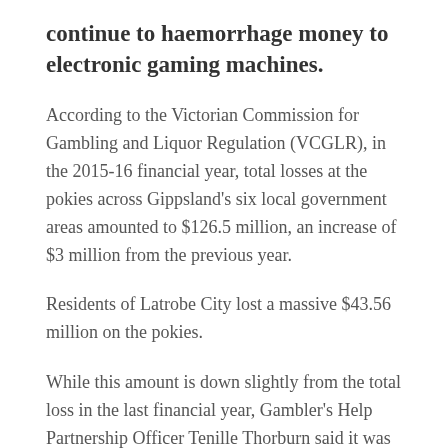continue to haemorrhage money to electronic gaming machines.
According to the Victorian Commission for Gambling and Liquor Regulation (VCGLR), in the 2015-16 financial year, total losses at the pokies across Gippsland's six local government areas amounted to $126.5 million, an increase of $3 million from the previous year.
Residents of Latrobe City lost a massive $43.56 million on the pokies.
While this amount is down slightly from the total loss in the last financial year, Gambler's Help Partnership Officer Tenille Thorburn said it was still a huge amount of money considering many